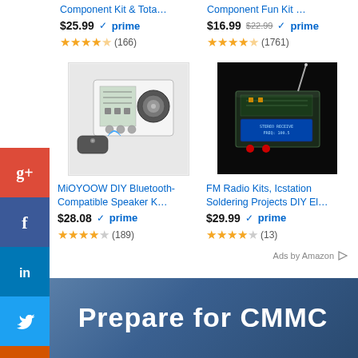Component Kit & Tota…
Component Fun Kit …
$25.99 prime (166 reviews)
$16.99 $22.99 prime (1761 reviews)
[Figure (photo): DIY Bluetooth-compatible speaker kit with remote control, transparent acrylic case]
[Figure (photo): FM Radio kit in transparent acrylic case with LCD display and antenna, dark background]
MiOYOOW DIY Bluetooth-Compatible Speaker K…
FM Radio Kits, Icstation Soldering Projects DIY El…
$28.08 prime (189 reviews)
$29.99 prime (13 reviews)
Ads by Amazon
[Figure (infographic): Social media sidebar with Google+, Facebook, LinkedIn, Twitter, Users, StumbleUpon icons]
Prepare for CMMC